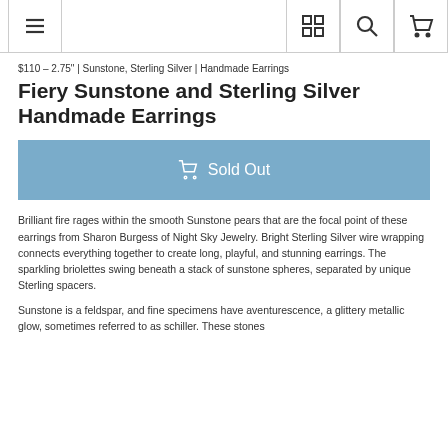Navigation bar with menu, grid, search, and cart icons
$110 – 2.75" | Sunstone, Sterling Silver | Handmade Earrings
Fiery Sunstone and Sterling Silver Handmade Earrings
Sold Out
Brilliant fire rages within the smooth Sunstone pears that are the focal point of these earrings from Sharon Burgess of Night Sky Jewelry. Bright Sterling Silver wire wrapping connects everything together to create long, playful, and stunning earrings. The sparkling briolettes swing beneath a stack of sunstone spheres, separated by unique Sterling spacers.
Sunstone is a feldspar, and fine specimens have aventurescence, a glittery metallic glow, sometimes referred to as schiller. These stones